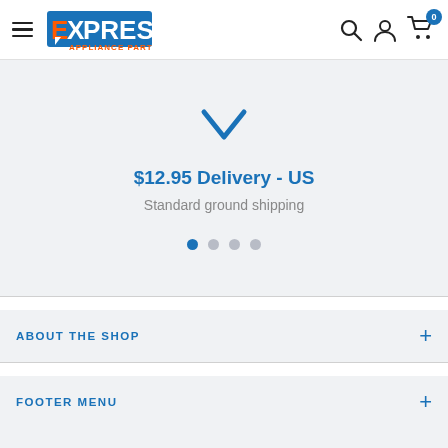[Figure (logo): Express Appliance Parts logo with hamburger menu, search icon, user account icon, and cart icon showing 0 items]
$12.95 Delivery - US
Standard ground shipping
ABOUT THE SHOP
FOOTER MENU